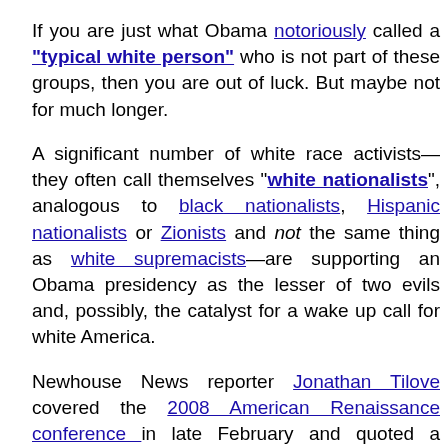If you are just what Obama notoriously called a "typical white person" who is not part of these groups, then you are out of luck. But maybe not for much longer.
A significant number of white race activists—they often call themselves "white nationalists", analogous to black nationalists, Hispanic nationalists or Zionists and not the same thing as white supremacists—are supporting an Obama presidency as the lesser of two evils and, possibly, the catalyst for a wake up call for white America.
Newhouse News reporter Jonathan Tilove covered the 2008 American Renaissance conference in late February and quoted a number of whites who were ready to support the Senator from Illinois.
"We are facing the election of Barack Obama, or,